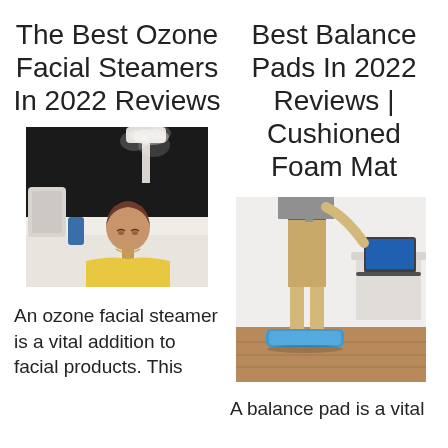The Best Ozone Facial Steamers In 2022 Reviews
Best Balance Pads In 2022 Reviews | Cushioned Foam Mat
[Figure (photo): Woman in a bathtub receiving ozone facial steam treatment from a steamer device]
[Figure (photo): Person standing on a blue cushioned foam balance pad near a desk with laptop]
An ozone facial steamer is a vital addition to facial products. This
A balance pad is a vital